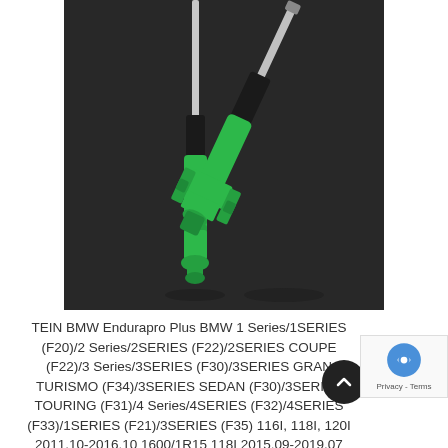[Figure (photo): Two green TEIN Endurapro Plus shock absorbers displayed on a dark background. One is upright showing the full strut assembly, the other is laying diagonally showing the lower bracket and spring perch.]
TEIN BMW Endurapro Plus BMW 1 Series/1SERIES (F20)/2 Series/2SERIES (F22)/2SERIES COUPE (F22)/3 Series/3SERIES (F30)/3SERIES GRAN TURISMO (F34)/3SERIES SEDAN (F30)/3SERIES TOURING (F31)/4 Series/4SERIES (F32)/4SERIES (F33)/1SERIES (F21)/3SERIES (F35) 116I, 118I, 120I 2011.10-2016.10 1600/1R15 118I 2015.09-2019.07 RWD